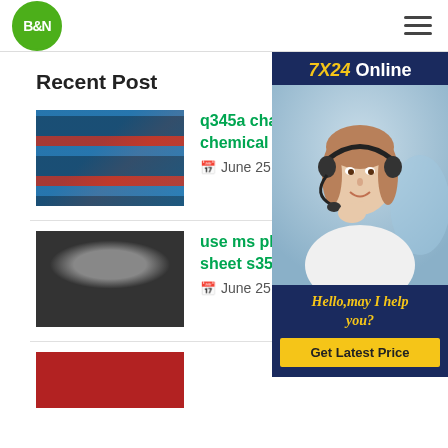B&N
Recent Post
[Figure (photo): Customer service representative with headset - 7X24 Online panel with Hello,may I help you? and Get Latest Price button]
q345a channel section chemical composition
June 25, 2021
use ms plate q235 carbon steel sheet s355jr st52
June 25, 2021